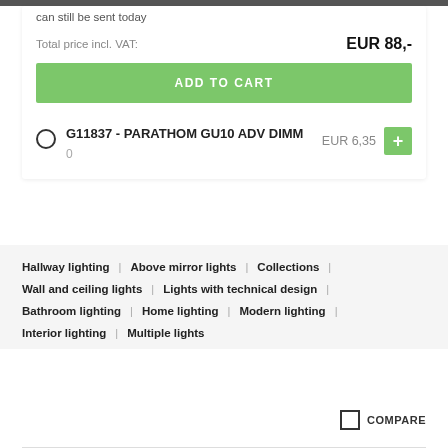can still be sent today
Total price incl. VAT:    EUR 88,-
ADD TO CART
G11837 - PARATHOM GU10 ADV DIMM    EUR 6,35    0
Hallway lighting | Above mirror lights | Collections |
Wall and ceiling lights | Lights with technical design |
Bathroom lighting | Home lighting | Modern lighting |
Interior lighting | Multiple lights
COMPARE